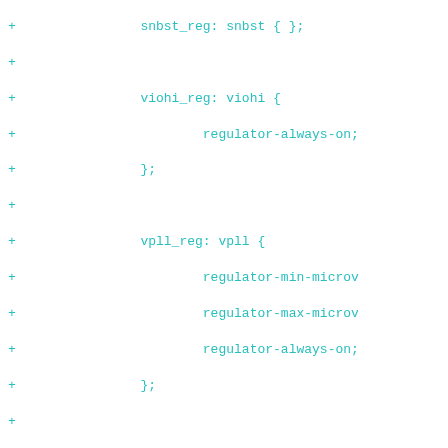Code diff showing device tree regulator entries: viohi_reg, vpll_reg, vdig_reg, vsd_reg, vusb2_reg, vvideo_reg with regulator-min-microvolt, regulator-max-microvolt, regulator-always-on properties